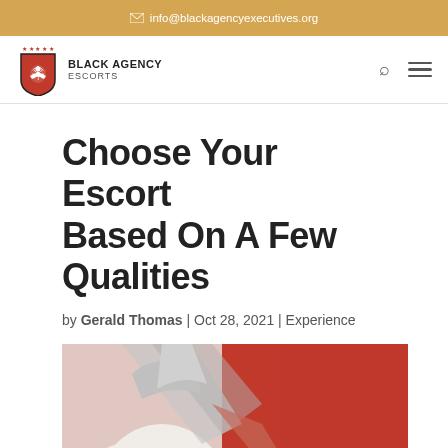✉ info@blackagencyexecutives.org
[Figure (logo): Black Agency Escorts shield logo with eagle and stars, red and black colors]
Choose Your Escort Based On A Few Qualities
by Gerald Thomas | Oct 28, 2021 | Experience
[Figure (photo): Woman in silver high heels and fishnet stockings lying against a red background]